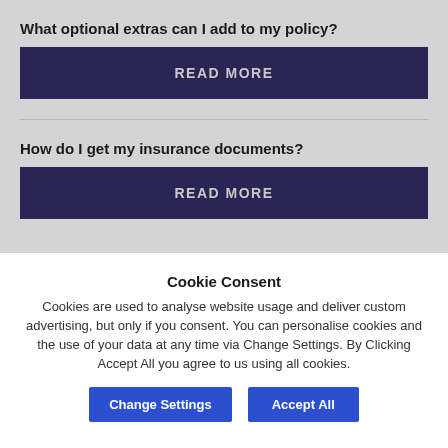What optional extras can I add to my policy?
READ MORE
How do I get my insurance documents?
READ MORE
Cookie Consent
Cookies are used to analyse website usage and deliver custom advertising, but only if you consent. You can personalise cookies and the use of your data at any time via Change Settings. By Clicking Accept All you agree to us using all cookies.
Change Settings
Accept All